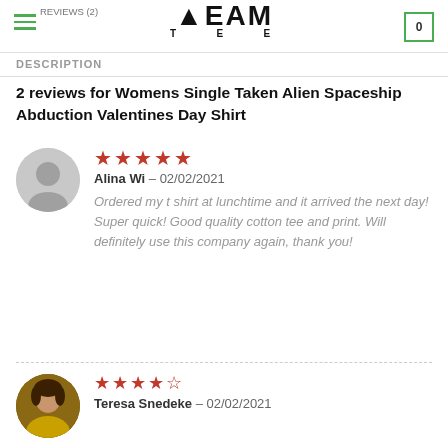TEAM TEE
DESCRIPTION
2 reviews for Womens Single Taken Alien Spaceship Abduction Valentines Day Shirt
Alina Wi – 02/02/2021 | Rating: 5 stars | Ordered my t shirt at lunchtime and it arrived the next day! Super quick! Good quality cotton tee and print. Will definitely use this company again, thank you!
Teresa Snedeke – 02/02/2021 | Rating: 4 stars